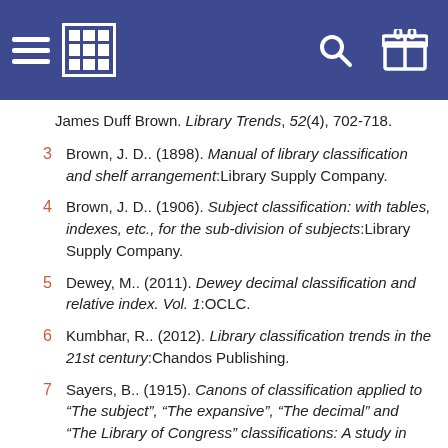Navigation header with menu, grid, search, and box icons
James Duff Brown. Library Trends, 52(4), 702-718.
3 Brown, J. D.. (1898). Manual of library classification and shelf arrangement:Library Supply Company.
4 Brown, J. D.. (1906). Subject classification: with tables, indexes, etc., for the sub-division of subjects:Library Supply Company.
5 Dewey, M.. (2011). Dewey decimal classification and relative index. Vol. 1:OCLC.
6 Kumbhar, R.. (2012). Library classification trends in the 21st century:Chandos Publishing.
7 Sayers, B.. (1915). Canons of classification applied to “The subject”, “The expansive”, “The decimal” and “The Library of Congress” classifications: A study in